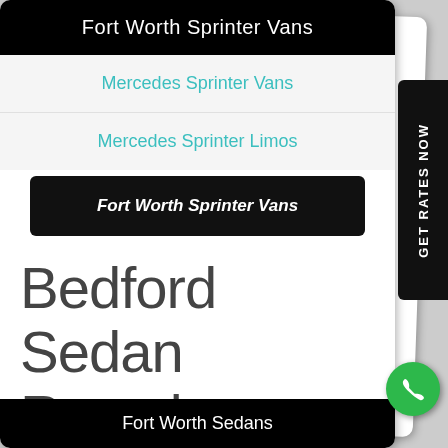Fort Worth Sprinter Vans
Mercedes Sprinter Vans
Mercedes Sprinter Limos
Fort Worth Sprinter Vans
Bedford Sedan Rental Services
Fort Worth Sedans
GET RATES NOW